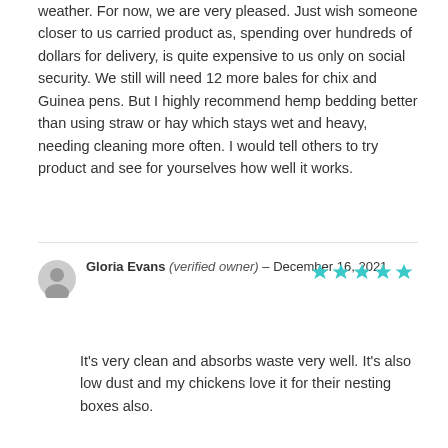weather. For now, we are very pleased. Just wish someone closer to us carried product as, spending over hundreds of dollars for delivery, is quite expensive to us only on social security. We still will need 12 more bales for chix and Guinea pens. But I highly recommend hemp bedding better than using straw or hay which stays wet and heavy, needing cleaning more often. I would tell others to try product and see for yourselves how well it works.
Gloria Evans (verified owner) – December 16, 2021 ★★★★★
It's very clean and absorbs waste very well. It's also low dust and my chickens love it for their nesting boxes also.